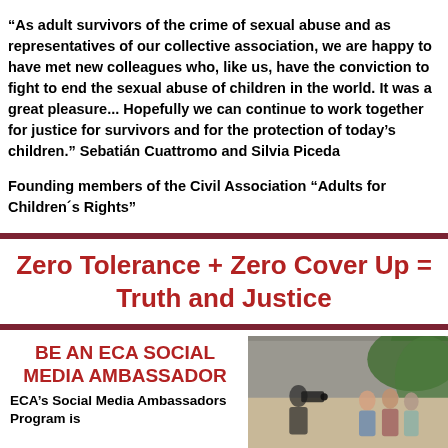“As adult survivors of the crime of sexual abuse and as representatives of our collective association, we are happy to have met new colleagues who, like us, have the conviction to fight to end the sexual abuse of children in the world. It was a great pleasure... Hopefully we can continue to work together for justice for survivors and for the protection of today’s children.” Sebatián Cuattromo and Silvia Piceda
Founding members of the Civil Association “Adults for Children´s Rights”
Zero Tolerance + Zero Cover Up = Truth and Justice
BE AN ECA SOCIAL MEDIA AMBASSADOR
ECA’s Social Media Ambassadors Program is
[Figure (photo): Photo of people gathered outdoors, possibly a press or media event. A camera person is visible filming a group of individuals, with greenery and a wall in the background.]